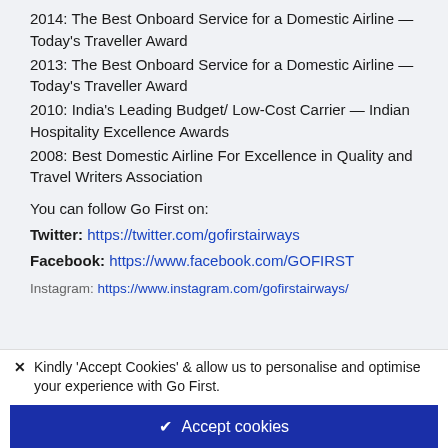2014: The Best Onboard Service for a Domestic Airline — Today's Traveller Award
2013: The Best Onboard Service for a Domestic Airline — Today's Traveller Award
2010: India's Leading Budget/ Low-Cost Carrier — Indian Hospitality Excellence Awards
2008: Best Domestic Airline For Excellence in Quality and Travel Writers Association
You can follow Go First on:
Twitter: https://twitter.com/gofirstairways
Facebook: https://www.facebook.com/GOFIRST
Instagram: https://www.instagram.com/gofirstairways/
✕  Kindly 'Accept Cookies' & allow us to personalise and optimise your experience with Go First.
✔ Accept cookies